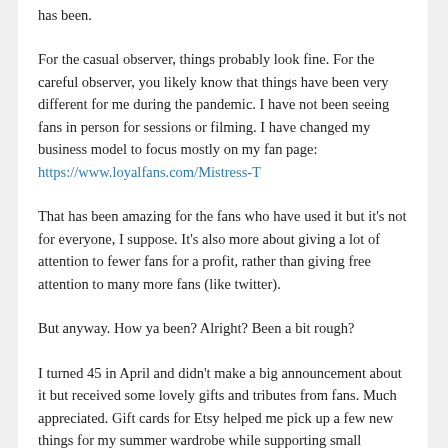has been.
For the casual observer, things probably look fine. For the careful observer, you likely know that things have been very different for me during the pandemic. I have not been seeing fans in person for sessions or filming. I have changed my business model to focus mostly on my fan page: https://www.loyalfans.com/Mistress-T
That has been amazing for the fans who have used it but it's not for everyone, I suppose. It's also more about giving a lot of attention to fewer fans for a profit, rather than giving free attention to many more fans (like twitter).
But anyway. How ya been? Alright? Been a bit rough?
I turned 45 in April and didn't make a big announcement about it but received some lovely gifts and tributes from fans. Much appreciated. Gift cards for Etsy helped me pick up a few new things for my summer wardrobe while supporting small business owners.